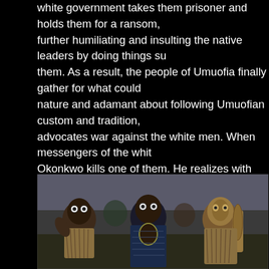white government takes them prisoner and holds them for a ransom, further humiliating and insulting the native leaders by doing things su them. As a result, the people of Umuofia finally gather for what could nature and adamant about following Umuofian custom and tradition, advocates war against the white men. When messengers of the whit Okonkwo kills one of them. He realizes with despair that the people d themselves — his society's response to such a conflict, which for so tradition, is changing.
When the local leader of the white government comes to Okonkwo's Okonkwo has hanged himself to avoid being tried in a colonial court. have tarnished his reputation and status, as it is strictly against the te
[Figure (photo): A photograph of people wearing traditional African masks and costumes with raffia/straw skirts and dark patterned robes, likely depicting Igbo masquerade performers.]